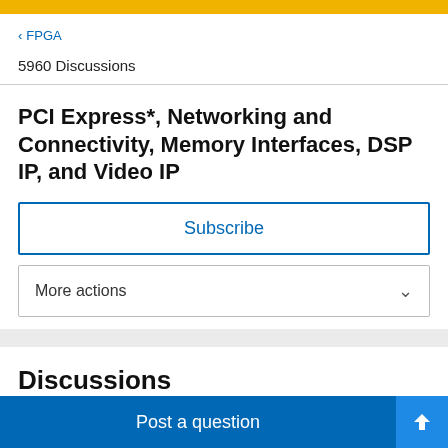< FPGA
5960 Discussions
PCI Express*, Networking and Connectivity, Memory Interfaces, DSP IP, and Video IP
Subscribe
More actions
Discussions
Post a question